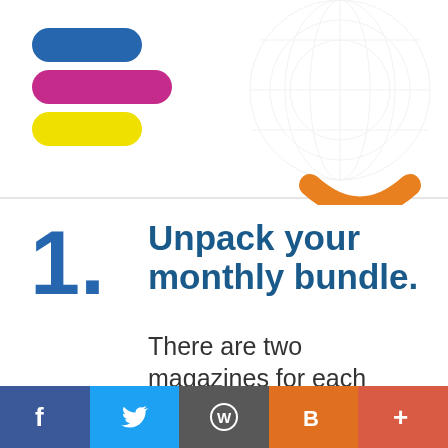[Figure (logo): Three horizontal pill shapes stacked: blue on top, pink/magenta in middle, yellow on bottom — logo mark]
[Figure (illustration): Faint globe watermark in upper right background, with an orange smile/arc shape at center bottom of upper section]
1.
Unpack your monthly bundle.
There are two magazines for each student inside!
[Figure (infographic): Footer bar with five social media icon buttons: Facebook (dark blue), Twitter (light blue), WordPress (grey), Blogger (orange), Plus/more (red-orange)]